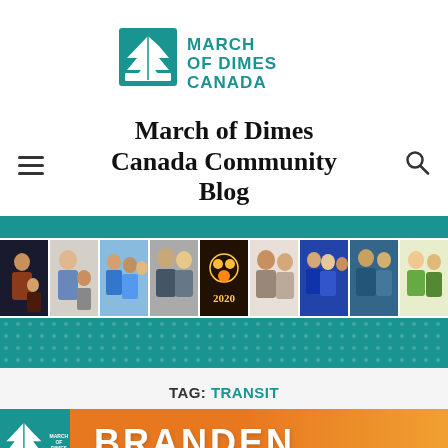[Figure (logo): March of Dimes Canada logo — teal tree/leaf mark with text 'MARCH OF DIMES CANADA']
March of Dimes Canada Community Blog
[Figure (photo): Horizontal photo strip showing approximately 9 community photos of people]
TAG: TRANSIT
[Figure (infographic): Bottom banner card with March of Dimes Canada logo on teal background, orange background, and large white bold text 'BRANDEN']